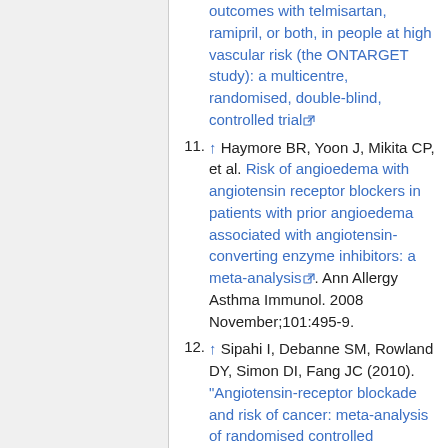outcomes with telmisartan, ramipril, or both, in people at high vascular risk (the ONTARGET study): a multicentre, randomised, double-blind, controlled trial [external link]
11. ↑ Haymore BR, Yoon J, Mikita CP, et al. Risk of angioedema with angiotensin receptor blockers in patients with prior angioedema associated with angiotensin-converting enzyme inhibitors: a meta-analysis [external link]. Ann Allergy Asthma Immunol. 2008 November;101:495-9.
12. ↑ Sipahi I, Debanne SM, Rowland DY, Simon DI, Fang JC (2010). "Angiotensin-receptor blockade and risk of cancer: meta-analysis of randomised controlled